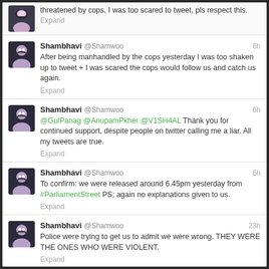[Figure (screenshot): Screenshot of Twitter feed showing multiple tweets by Shambhavi @Shamwoo about police encounters]
threatened by cops, I was too scared to tweet, pls respect this. Expand
Shambhavi @Shamwoo 6h After being manhandled by the cops yesterday I was too shaken up to tweet + I was scared the cops would follow us and catch us again. Expand
Shambhavi @Shamwoo 6h @GulPanag @AnupamPkher @V1SH4AL Thank you for continued support, despite people on twitter calling me a liar. All my tweets are true. Expand
Shambhavi @Shamwoo 6h To confirm: we were released around 6.45pm yesterday from #ParliamentStreet PS; again no explanations given to us. Expand
Shambhavi @Shamwoo 23h Police were trying to get us to admit we were wrong. THEY WERE THE ONES WHO WERE VIOLENT. Expand
Shambhavi @Shamwoo 23h Removed us from lock up, no word from SHO. The two boys are not with us #PaliamentStreet PS Expand
Shambhavi @Shamwoo 23h